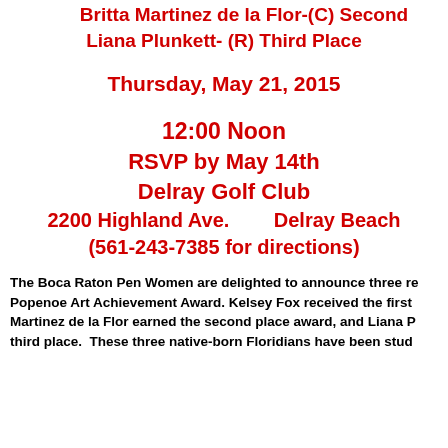Britta Martinez de la Flor-(C) Second
Liana Plunkett- (R) Third Place
Thursday, May 21, 2015
12:00 Noon
RSVP by May 14th
Delray Golf Club
2200 Highland Ave.        Delray Beach
(561-243-7385 for directions)
The Boca Raton Pen Women are delighted to announce three re Popenoe Art Achievement Award. Kelsey Fox received the first Martinez de la Flor earned the second place award, and Liana P third place.  These three native-born Floridians have been stud